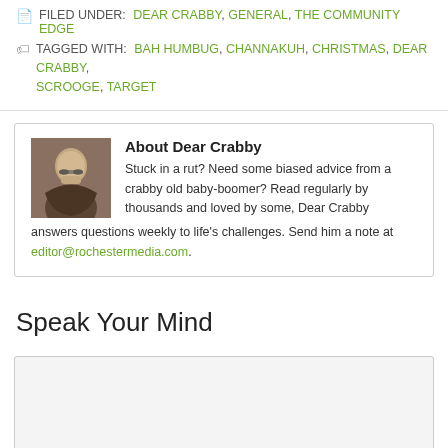FILED UNDER: DEAR CRABBY, GENERAL, THE COMMUNITY EDGE
TAGGED WITH: BAH HUMBUG, CHANNAKUH, CHRISTMAS, DEAR CRABBY, SCROOGE, TARGET
[Figure (photo): Portrait photo of an elderly man with glasses]
About Dear Crabby
Stuck in a rut? Need some biased advice from a crabby old baby-boomer? Read regularly by thousands and loved by some, Dear Crabby answers questions weekly to life's challenges. Send him a note at editor@rochestermedia.com.
Speak Your Mind